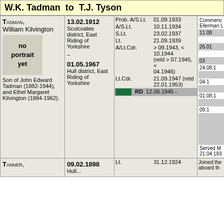W.K. Tadman to T.J. Tyson
| Name/Portrait | Birth/Death | Ranks/Dates | Service Details |
| --- | --- | --- | --- |
| TADMAN, William Kilvington [no portrait yet] Son of John Edward Tadman (1882-1944), and Ethel Margaret Kilvington (1884-1962). | 13.02.1912 Sculcoates district, East Riding of Yorkshire – 01.05.1967 Hull district, East Riding of Yorkshire | Prob. A/S.Lt. 01.09.1933 | A/S.Lt. 10.11.1934 | S.Lt. 23.02.1937 | Lt. 21.09.1939 | A/Lt.Cdr. > 09.1943, < 10.1944 (reld > 07.1945, < 04.1946) | Lt.Cdr. 21.09.1947 (retd 22.01.1953) | RD 12.06.1945 - | Commenced Ellerman L... 11.08... 26.01... 03... 24.08.1... 04.1... 01.08.1... 09.1... Served M... 21.04.193... |
| TANNER, | 09.02.1898 Hull... | Lt. 31.12.1924 | Joined the... aboard th... |